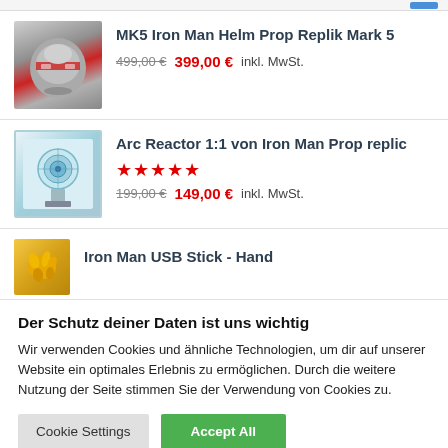MK5 Iron Man Helm Prop Replik Mark 5 — 499,00 € 399,00 € inkl. MwSt.
Arc Reactor 1:1 von Iron Man Prop replic — ★★★★★ — 199,00 € 149,00 € inkl. MwSt.
Iron Man USB Stick - Hand
Der Schutz deiner Daten ist uns wichtig
Wir verwenden Cookies und ähnliche Technologien, um dir auf unserer Website ein optimales Erlebnis zu ermöglichen. Durch die weitere Nutzung der Seite stimmen Sie der Verwendung von Cookies zu.
Cookie Settings | Accept All